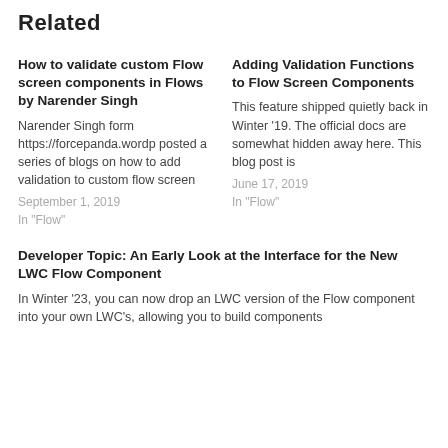Related
How to validate custom Flow screen components in Flows by Narender Singh
Narender Singh form https://forcepanda.wordp posted a series of blogs on how to add validation to custom flow screen
September 1, 2019
In "Flow"
Adding Validation Functions to Flow Screen Components
This feature shipped quietly back in Winter '19. The official docs are somewhat hidden away here. This blog post is
June 17, 2019
In "Flow"
Developer Topic: An Early Look at the Interface for the New LWC Flow Component
In Winter '23, you can now drop an LWC version of the Flow component into your own LWC's, allowing you to build components